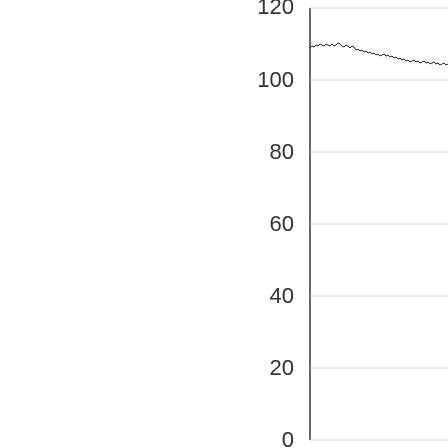[Figure (continuous-plot): Partial view of a line chart showing y-axis with tick marks at 0, 20, 40, 60, 80, 100, and 120 (partially visible at top). A jagged/noisy line runs near the top of the visible chart area, approximately at y=108-110, with slight downward trend. The chart is cropped on the left and right sides, showing only the right portion with y-axis gridlines.]